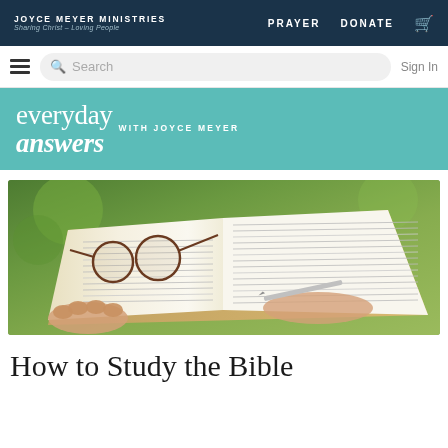JOYCE MEYER MINISTRIES | Sharing Christ – Loving People | PRAYER | DONATE
[Figure (screenshot): Website navigation with search bar, hamburger menu, and Sign In link]
[Figure (illustration): Everyday Answers with Joyce Meyer banner in teal/turquoise color]
[Figure (photo): Close-up photo of hands holding an open Bible with reading glasses and a pen]
How to Study the Bible